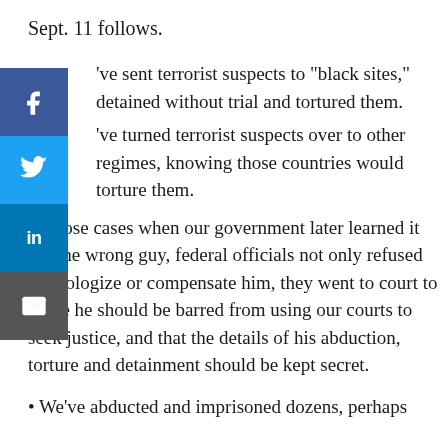Sept. 11 follows.
've sent terrorist suspects to "black sites," detained without trial and tortured them.
've turned terrorist suspects over to other regimes, knowing those countries would torture them.
In those cases when our government later learned it got the wrong guy, federal officials not only refused to apologize or compensate him, they went to court to argue he should be barred from using our courts to seek justice, and that the details of his abduction, torture and detainment should be kept secret.
• We've abducted and imprisoned dozens, perhaps hundreds, from the ...